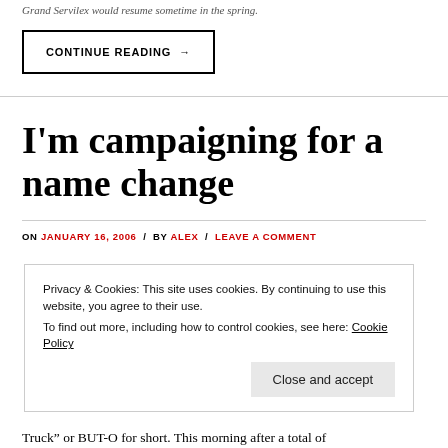Grand Servilex would resume sometime in the spring.
CONTINUE READING →
I'm campaigning for a name change
ON JANUARY 16, 2006 / BY ALEX / LEAVE A COMMENT
Privacy & Cookies: This site uses cookies. By continuing to use this website, you agree to their use. To find out more, including how to control cookies, see here: Cookie Policy
Close and accept
Truck" or BUT-O for short. This morning after a total of